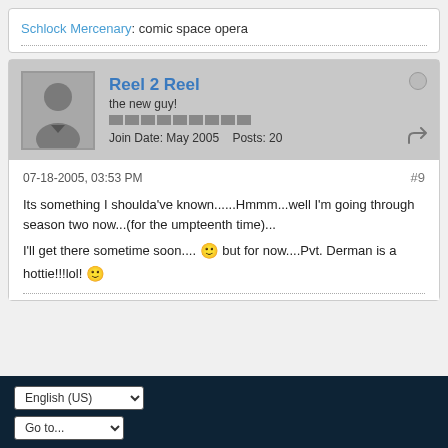Schlock Mercenary: comic space opera
Reel 2 Reel
the new guy!
Join Date: May 2005  Posts: 20
07-18-2005, 03:53 PM  #9
Its something I shoulda've known......Hmmm...well I'm going through season two now...(for the umpteenth time)...

I'll get there sometime soon.... :) but for now....Pvt. Derman is a hottie!!!lol! :)